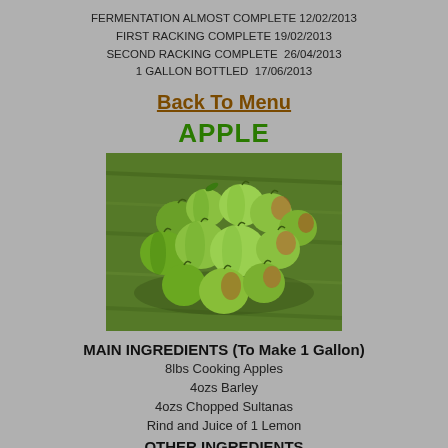FERMENTATION ALMOST COMPLETE 12/02/2013
FIRST RACKING COMPLETE 19/02/2013
SECOND RACKING COMPLETE  26/04/2013
1 GALLON BOTTLED  17/06/2013
Back To Menu
APPLE
[Figure (photo): A pile of green and red apples lying on a grass surface, photographed from above.]
MAIN INGREDIENTS (To Make 1 Gallon)
8lbs Cooking Apples
4ozs Barley
4ozs Chopped Sultanas
Rind and Juice of 1 Lemon
OTHER INGREDIENTS
1 Level Teaspoon of Wine Yeast